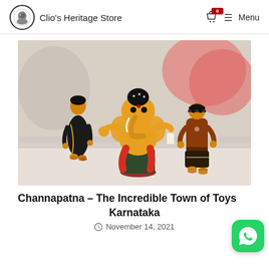Clio's Heritage Store  Menu
[Figure (photo): Photo of colorful Channapatna wooden toy figurines including a Ganesha and two human figures in traditional dress, displayed on a white surface with pink flowers in the blurred background.]
Channapatna – The Incredible Town of Toys Karnataka
November 14, 2021